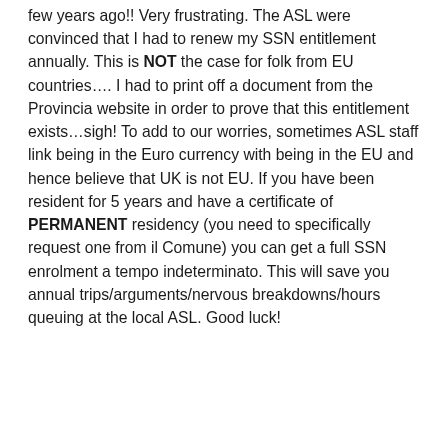few years ago!! Very frustrating. The ASL were convinced that I had to renew my SSN entitlement annually. This is NOT the case for folk from EU countries…. I had to print off a document from the Provincia website in order to prove that this entitlement exists…sigh! To add to our worries, sometimes ASL staff link being in the Euro currency with being in the EU and hence believe that UK is not EU. If you have been resident for 5 years and have a certificate of PERMANENT residency (you need to specifically request one from il Comune) you can get a full SSN enrolment a tempo indeterminato. This will save you annual trips/arguments/nervous breakdowns/hours queuing at the local ASL. Good luck!